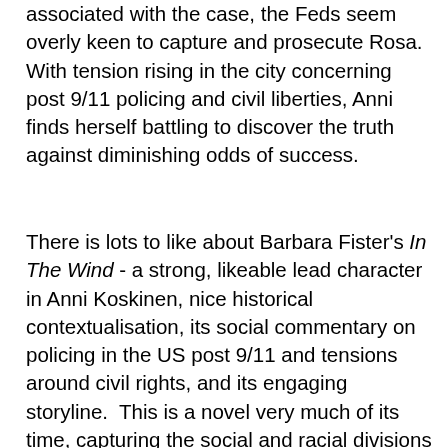associated with the case, the Feds seem overly keen to capture and prosecute Rosa.  With tension rising in the city concerning post 9/11 policing and civil liberties, Anni finds herself battling to discover the truth against diminishing odds of success.
There is lots to like about Barbara Fister's In The Wind - a strong, likeable lead character in Anni Koskinen, nice historical contextualisation, its social commentary on policing in the US post 9/11 and tensions around civil rights, and its engaging storyline.  This is a novel very much of its time, capturing the social and racial divisions of American society and the divided geographies of a US city.  And whilst it's a crime thriller it takes a different path to most by portraying an alternative perspective from the typical cop or federal agency point of view.  The result is a subtle but stinging critique of heavy-handed, strong-arm, politically motivated policing, and series of interesting connections to the civil rights campaigns of the 1960s.  From the very start Fister ratchets up the tension and then keeps it taut throughout as Anni pings from one crisis to another, tries to track down clues, and to maintain fraught relationships.  Whilst the solution to the